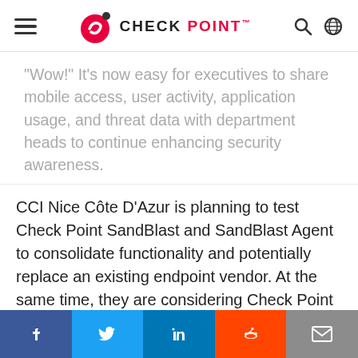CHECK POINT
“Wow!” It’s now easy for executives to share mobile access, user activity, application usage, and threat data with department heads to continue enhancing security awareness.
CCI Nice Côte D’Azur is planning to test Check Point SandBlast and SandBlast Agent to consolidate functionality and potentially replace an existing endpoint vendor. At the same time, they are considering Check Point appliance deployment in non-headquarters locations to further consolidate security operations and reduce overhead. That’s great to hear. We’re looking forward to updates in
Facebook Twitter LinkedIn Reddit Email